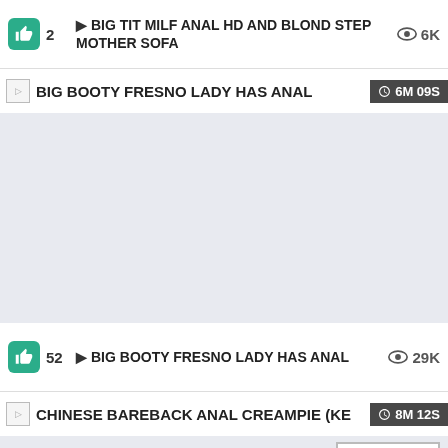2 ▶ BIG TIT MILF ANAL HD AND BLOND STEP MOTHER SOFA ... 👁 6K
BIG BOOTY FRESNO LADY HAS ANAL  🕐 6M 09S
52 ▶ BIG BOOTY FRESNO LADY HAS ANAL  👁 29K
CHINESE BAREBACK ANAL CREAMPIE (KE...  🕐 8M 12S
GO TOP ^